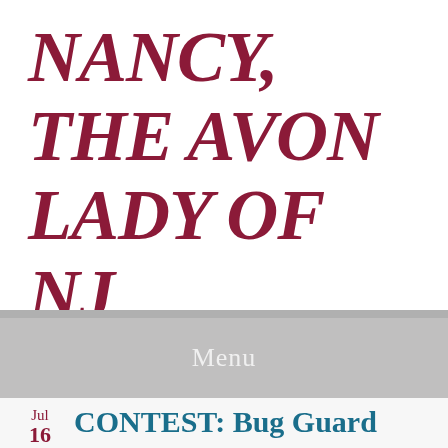NANCY, THE AVON LADY OF NJ
Menu
Jul 16
CONTEST: Bug Guard